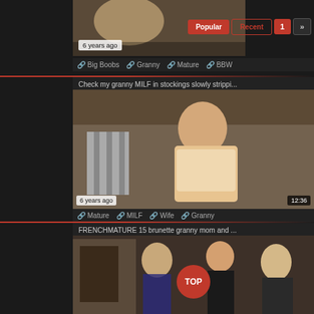6 years ago
Popular | Recent | 1 | »
Big Boobs  Granny  Mature  BBW
Check my granny MILF in stockings slowly strippi...
[Figure (photo): Video thumbnail showing blonde woman on couch, timestamp 6 years ago, duration 12:36]
Mature  MILF  Wife  Granny
FRENCHMATURE 15 brunette granny mom and ...
[Figure (photo): Video thumbnail showing women, with TOP button overlay]
TOP